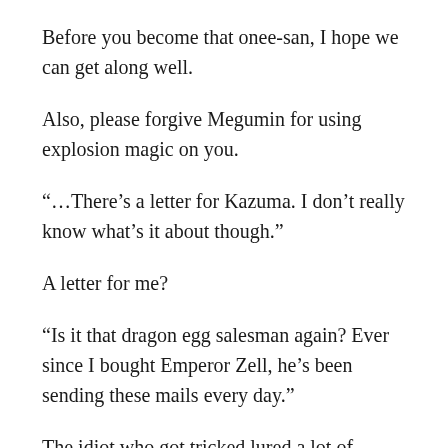Before you become that onee-san, I hope we can get along well.
Also, please forgive Megumin for using explosion magic on you.
“…There’s a letter for Kazuma. I don’t really know what’s it about though.”
A letter for me?
“Is it that dragon egg salesman again? Ever since I bought Emperor Zell, he’s been sending these mails every day.”
The idiot who got tricked lured a lot of scammers to this house.